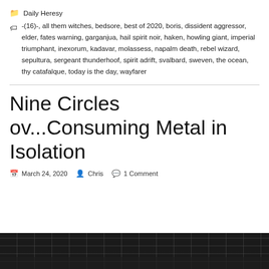📁 Daily Heresy
🏷 -(16)-, all them witches, bedsore, best of 2020, boris, dissident aggressor, elder, fates warning, garganjua, hail spirit noir, haken, howling giant, imperial triumphant, inexorum, kadavar, molassess, napalm death, rebel wizard, sepultura, sergeant thunderhoof, spirit adrift, svalbard, sweven, the ocean, thy catafalque, today is the day, wayfarer
Nine Circles ov...Consuming Metal in Isolation
March 24, 2020  Chris  1 Comment
[Figure (photo): Dark photograph of what appears to be a keyboard or grid-like surface, shown in grayscale at the bottom of the page.]